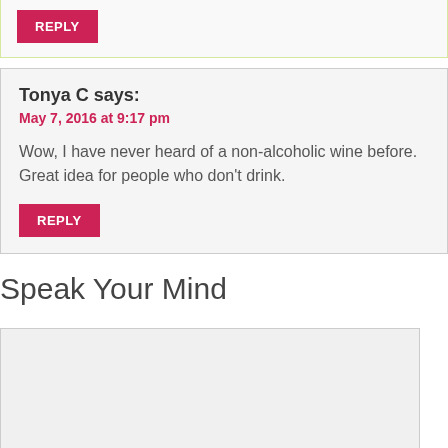REPLY
Tonya C says:
May 7, 2016 at 9:17 pm
Wow, I have never heard of a non-alcoholic wine before. Great idea for people who don't drink.
REPLY
Speak Your Mind